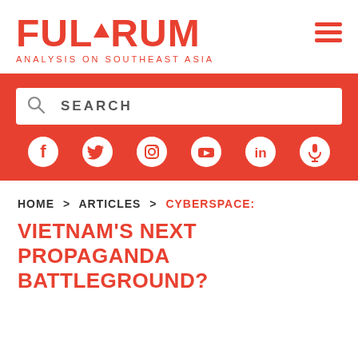[Figure (logo): Fulcrum logo with red text and triangle in C, subtitle 'ANALYSIS ON SOUTHEAST ASIA']
[Figure (screenshot): Red navigation bar with search box and social media icons (Facebook, Twitter, Instagram, YouTube, LinkedIn, Podcast)]
HOME > ARTICLES > CYBERSPACE: VIETNAM'S NEXT PROPAGANDA BATTLEGROUND?